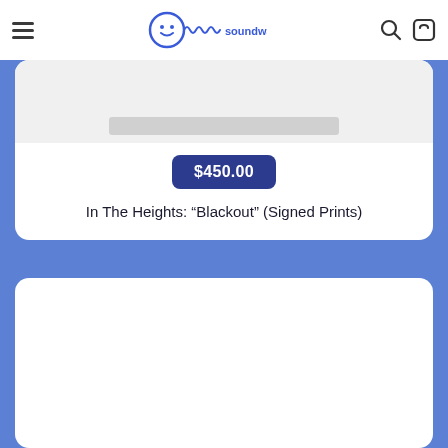soundwavesart
$450.00
In The Heights: “Blackout” (Signed Prints)
[Figure (photo): White product card with a gray rectangular image placeholder at top, partially cut off]
[Figure (photo): White product card with white image area, partially visible at bottom of page]